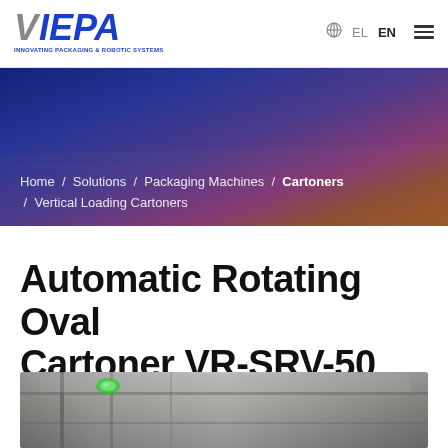[Figure (logo): VIEPA logo with tagline INNOVATING PACKAGING & ROBOTIC SYSTEMS]
EL  EN
[Figure (photo): Hero banner showing blurred colorful circuit board / digital technology background in blue, purple and orange tones]
Home / Solutions / Packaging Machines / Cartoners / Vertical Loading Cartoners
Automatic Rotating Oval Cartoner VR-SRV-50
[Figure (photo): Partial photo of the Automatic Rotating Oval Cartoner VR-SRV-50 machine, showing industrial machinery with a green indicator light]